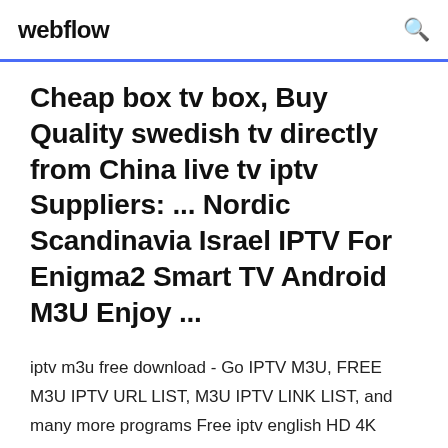webflow
Cheap box tv box, Buy Quality swedish tv directly from China live tv iptv Suppliers: ... Nordic Scandinavia Israel IPTV For Enigma2 Smart TV Android M3U Enjoy ...
iptv m3u free download - Go IPTV M3U, FREE M3U IPTV URL LIST, M3U IPTV LINK LIST, and many more programs Free iptv english HD 4K channels playlists 28-10-18.. indian iptv M3u 2018.More + 5000 indian Iptv 2018.iptv indian channels m3u 2018 m3u playlist india iptv